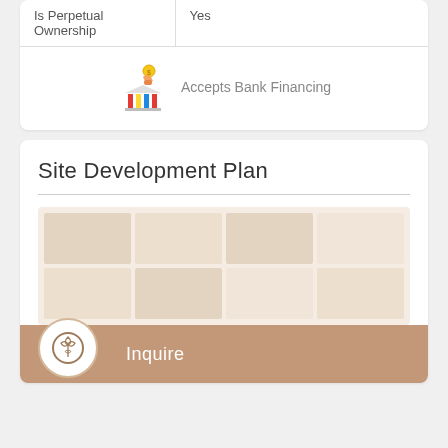| Is Perpetual Ownership | Yes |
| Accepts Bank Financing |  |
Site Development Plan
[Figure (illustration): Blurred/watermarked site development plan image with an Inquire button overlay at the bottom]